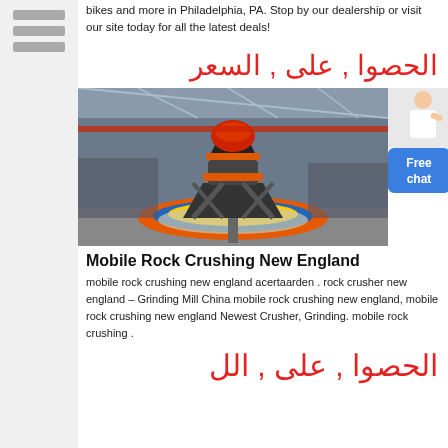bikes and more in Philadelphia, PA. Stop by our dealership or visit our site today for all the latest deals!
الحصوا , على , السعر
[Figure (photo): Industrial rock crushing machine (cone crusher) in a factory/warehouse setting with colorful base]
Mobile Rock Crushing New England
mobile rock crushing new england acertaarden . rock crusher new england – Grinding Mill China mobile rock crushing new england, mobile rock crushing new england Newest Crusher, Grinding. mobile rock crushing .
الحصوا , على , الل